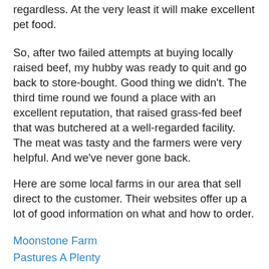regardless. At the very least it will make excellent pet food.
So, after two failed attempts at buying locally raised beef, my hubby was ready to quit and go back to store-bought. Good thing we didn't. The third time round we found a place with an excellent reputation, that raised grass-fed beef that was butchered at a well-regarded facility. The meat was tasty and the farmers were very helpful. And we've never gone back.
Here are some local farms in our area that sell direct to the customer. Their websites offer up a lot of good information on what and how to order.
Moonstone Farm
Pastures A Plenty
Murphy's Organic Farm
Morning Has Broken Farm
And here's a Fact Sheet from Oklahoma State Univeristy.
Keep in mind there are a lot of farms that don't have websites. Some state or univeristy Department of Agriculture